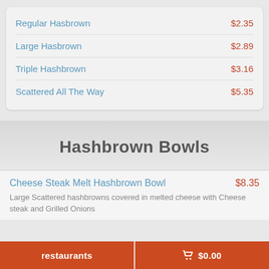Regular Hasbrown $2.35
Large Hasbrown $2.89
Triple Hashbrown $3.16
Scattered All The Way $5.35
Hashbrown Bowls
Cheese Steak Melt Hashbrown Bowl $8.35
Large Scattered hashbrowns covered in melted cheese with Cheese steak and Grilled Onions
restaurants   🛒 $0.00